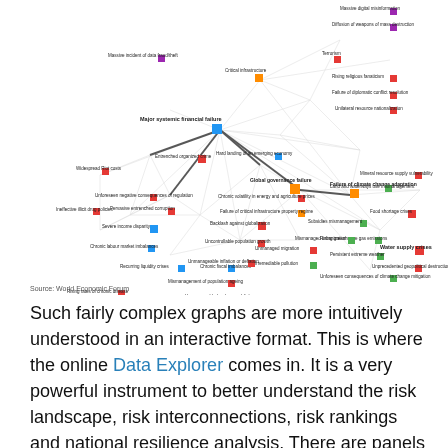[Figure (network-graph): Complex network graph showing global risks interconnections. Nodes represent various risks categorized by color (economic, geopolitical, environmental, societal, technological) including 'Major systemic financial failure', 'Global governance failure', 'Failure of climate change adaptation', 'Water supply crises', 'Food shortage crises', and many others. Edges between nodes show risk interconnections with varying thicknesses. Source: World Economic Forum.]
Source: World Economic Forum
Such fairly complex graphs are more intuitively understood in an interactive format. This is where the online Data Explorer comes in. It is a very powerful instrument to better understand the risk landscape, risk interconnections, risk rankings and national resilience analysis. There are panels to filter, the graphs respond to mouse-overs with more detail and there are ample details